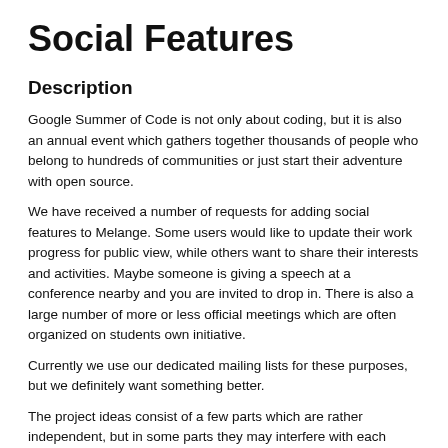Social Features
Description
Google Summer of Code is not only about coding, but it is also an annual event which gathers together thousands of people who belong to hundreds of communities or just start their adventure with open source.
We have received a number of requests for adding social features to Melange. Some users would like to update their work progress for public view, while others want to share their interests and activities. Maybe someone is giving a speech at a conference nearby and you are invited to drop in. There is also a large number of more or less official meetings which are often organized on students own initiative.
Currently we use our dedicated mailing lists for these purposes, but we definitely want something better.
The project ideas consist of a few parts which are rather independent, but in some parts they may interfere with each